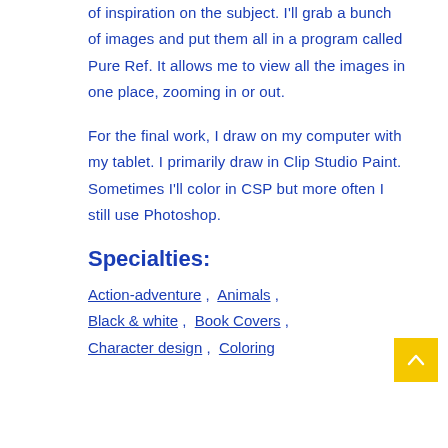of inspiration on the subject. I'll grab a bunch of images and put them all in a program called Pure Ref. It allows me to view all the images in one place, zooming in or out.
For the final work, I draw on my computer with my tablet. I primarily draw in Clip Studio Paint. Sometimes I'll color in CSP but more often I still use Photoshop.
Specialties:
Action-adventure , Animals , Black & white , Book Covers , Character design , Coloring